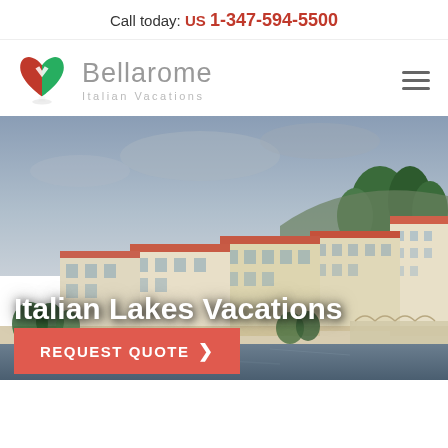Call today: US 1-347-594-5500
[Figure (logo): Bellarome Italian Vacations logo with heart icon in Italian flag colors (red, white, green) and brand name]
Italian Lakes Vacations
REQUEST QUOTE >